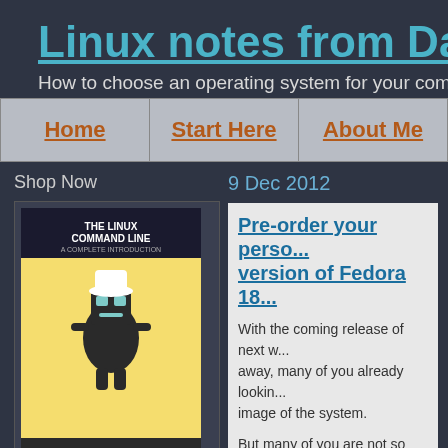Linux notes from DarkD...
How to choose an operating system for your computer...
Home | Start Here | About Me
Shop Now
[Figure (photo): Cover of 'The Linux Command Line, 2nd Edition: A C...' book showing a robot chef]
The Linux Command Line, 2nd Edition: A C...
$19.49  $39.95  ✓prime  ★★★★★ (1464)
9 Dec 2012
Pre-order your personal version of Fedora 18...
With the coming release of next w... away, many of you already lookin... image of the system.
But many of you are not so lucky, you can not or do not want to crea...